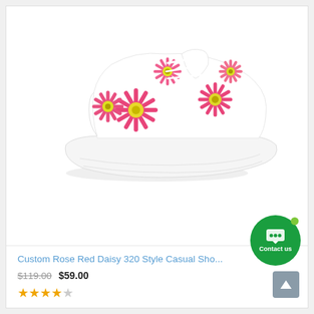[Figure (photo): Custom Rose Red Daisy 320 Style Casual Shoe — white sneaker with pink daisy floral pattern printed all over the upper]
Custom Rose Red Daisy 320 Style Casual Sho...
$119.00 $59.00
★★★★☆ (4 out of 5 stars)
[Figure (other): Contact us chat button — green circular button with chat icon and 'Contact us' label]
[Figure (other): Back to top button — grey square button with upward arrow]